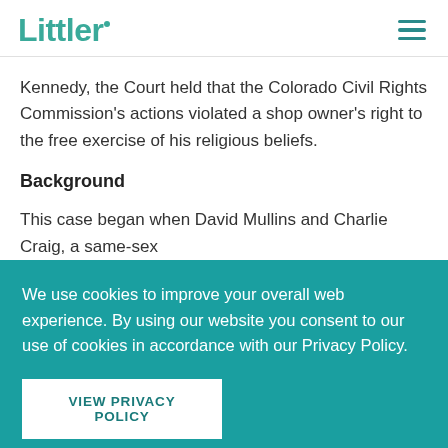Littler
Kennedy, the Court held that the Colorado Civil Rights Commission's actions violated a shop owner's right to the free exercise of his religious beliefs.
Background
This case began when David Mullins and Charlie Craig, a same-sex
We use cookies to improve your overall web experience. By using our website you consent to our use of cookies in accordance with our Privacy Policy.
VIEW PRIVACY POLICY
I AGREE